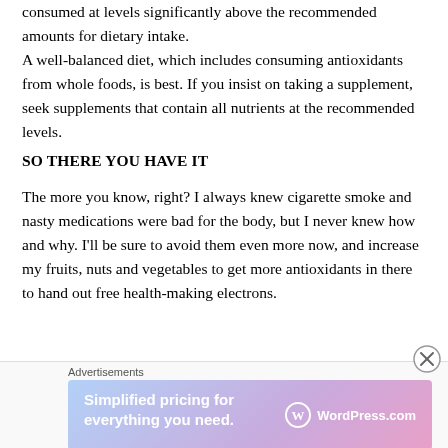consumed at levels significantly above the recommended amounts for dietary intake. A well-balanced diet, which includes consuming antioxidants from whole foods, is best. If you insist on taking a supplement, seek supplements that contain all nutrients at the recommended levels.
SO THERE YOU HAVE IT
The more you know, right? I always knew cigarette smoke and nasty medications were bad for the body, but I never knew how and why. I'll be sure to avoid them even more now, and increase my fruits, nuts and vegetables to get more antioxidants in there to hand out free health-making electrons.
Thanks for sticking with me on this journey of...
[Figure (screenshot): Advertisement banner: 'Simplified pricing for everything you need.' with WordPress.com logo on gradient purple-pink background]